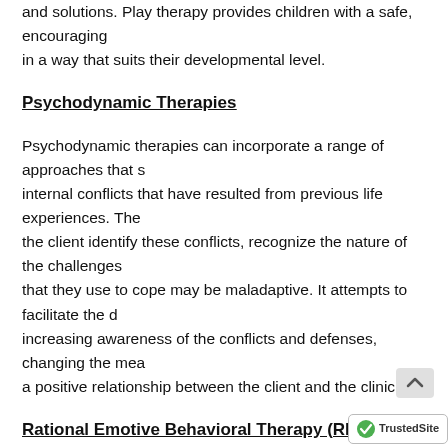and solutions. Play therapy provides children with a safe, encouraging in a way that suits their developmental level.
Psychodynamic Therapies
Psychodynamic therapies can incorporate a range of approaches that s... internal conflicts that have resulted from previous life experiences. The the client identify these conflicts, recognize the nature of the challenges that they use to cope may be maladaptive. It attempts to facilitate the d... increasing awareness of the conflicts and defenses, changing the mea... a positive relationship between the client and the clinician.
Rational Emotive Behavioral Therapy (REBT)
Rational Emotive Behavioral Therapy (REBT) shares many similarities B C'. The basis of REBT is that negative experiences (both internal and our interpretation of the factors or causes of that event (B – Be...no interpretation (C – Consequence).